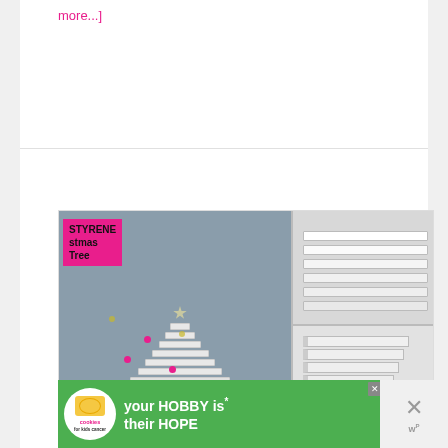more...]
[Figure (photo): Collage of three photos showing a polystyrene Christmas tree made from layered white foam pieces, decorated with pink baubles and fairy lights, with a star on top. Right side shows close-up detail shots of the foam pieces assembled.]
Polystyrene Christmas Tree
[Figure (photo): Advertisement banner: 'your HOBBY is their HOPE' with cookies for Kids Cancer charity logo and close button.]